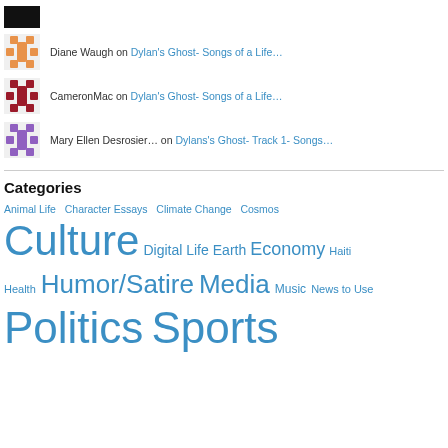[Figure (other): Black rectangle avatar image]
Diane Waugh on Dylan's Ghost- Songs of a Life…
[Figure (other): Orange geometric pattern avatar]
CameronMac on Dylan's Ghost- Songs of a Life…
[Figure (other): Red geometric pattern avatar]
Mary Ellen Desrosier… on Dylans's Ghost- Track 1- Songs…
[Figure (other): Purple geometric pattern avatar]
Categories
Animal Life  Character Essays  Climate Change  Cosmos  Culture  Digital Life  Earth  Economy  Haiti  Health  Humor/Satire  Media  Music  News to Use  Politics  Sports